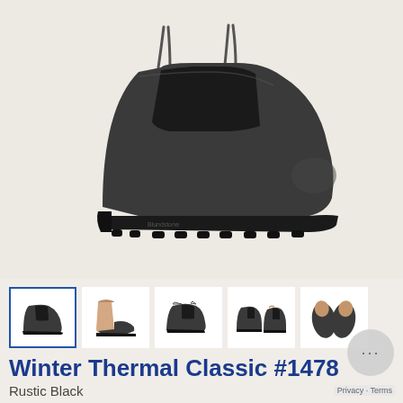[Figure (photo): Main product photo of a Blundstone black Chelsea boot (Winter Thermal Classic #1478 in Rustic Black) shown in profile on a light beige background.]
[Figure (photo): Thumbnail row showing 5 thumbnail views of the boot: side view (selected), interior view, angled side view, pair view from side, and top-down view.]
Winter Thermal Classic #1478
Rustic Black